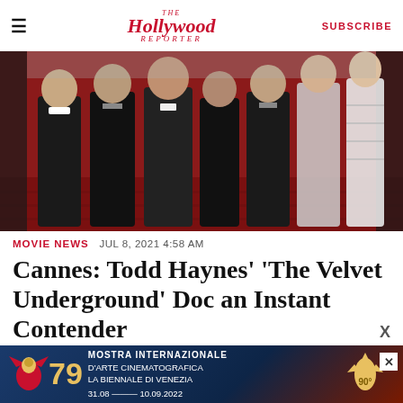The Hollywood Reporter | SUBSCRIBE
[Figure (photo): Group of people in formal attire posing on red carpet steps at Cannes film festival]
MOVIE NEWS  JUL 8, 2021 4:58 AM
Cannes: Todd Haynes' 'The Velvet Underground' Doc an Instant Contender
In a year already packed with great music documentari…
[Figure (advertisement): Venice Film Festival 79 advertisement — Mostra Internazionale d'Arte Cinematografica La Biennale di Venezia 31.08 – 10.09.2022, with gold lion logo and 90° mark]